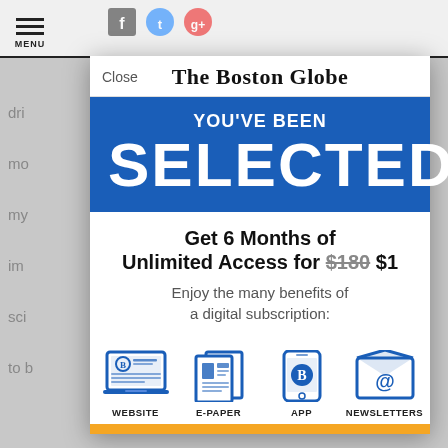[Figure (screenshot): Boston Globe subscription modal overlay on top of a news article page. Modal shows newspaper logo, blue banner with YOU'VE BEEN SELECTED, offer for 6 months unlimited access for $1, and icons for Website, E-Paper, App, Newsletters.]
The Boston Globe
YOU'VE BEEN
SELECTED
Get 6 Months of Unlimited Access for $180 $1
Enjoy the many benefits of a digital subscription:
WEBSITE
E-PAPER
APP
NEWSLETTERS